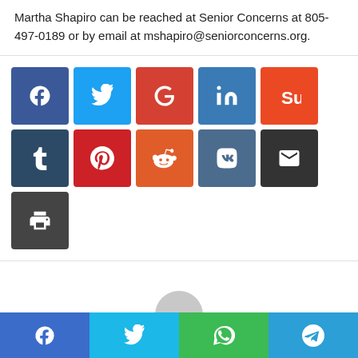Martha Shapiro can be reached at Senior Concerns at 805-497-0189 or by email at mshapiro@seniorconcerns.org.
[Figure (infographic): Social share buttons: Facebook, Twitter, Google, LinkedIn, StumbleUpon, Tumblr, Pinterest, Reddit, VK, Email, Print]
[Figure (illustration): Generic user avatar placeholder — grey silhouette of a person on white background]
[Figure (infographic): Footer share bar with Facebook, Twitter, WhatsApp, and Telegram icons]